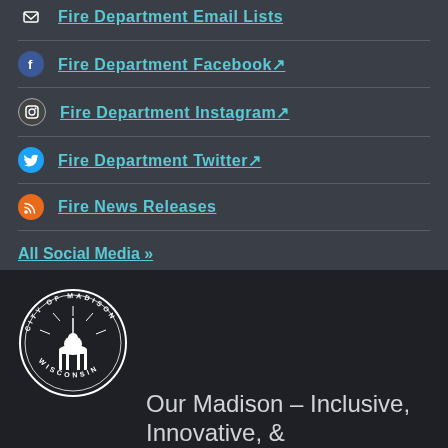Fire Department Email Lists
Fire Department Facebook
Fire Department Instagram
Fire Department Twitter
Fire News Releases
All Social Media »
[Figure (logo): City of Madison, Wisconsin circular seal in white on dark background]
Our Madison – Inclusive, Innovative, &